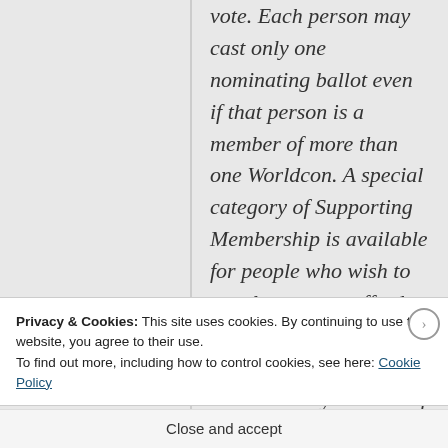vote. Each person may cast only one nominating ballot even if that person is a member of more than one Worldcon. A special category of Supporting Membership is available for people who wish to vote but cannot afford to attend the convention. Supporting Membership also entitles you to all of the official Worldcon
Privacy & Cookies: This site uses cookies. By continuing to use this website, you agree to their use.
To find out more, including how to control cookies, see here: Cookie Policy
Close and accept